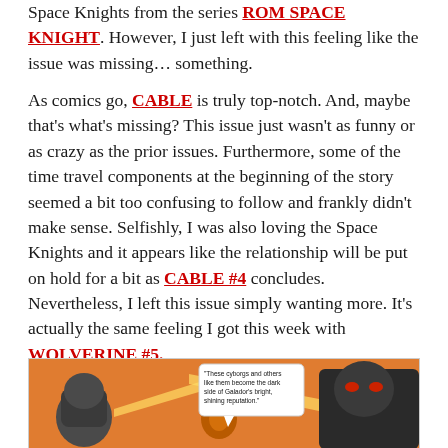Space Knights from the series ROM SPACE KNIGHT. However, I just left with this feeling like the issue was missing… something.
As comics go, CABLE is truly top-notch. And, maybe that's what's missing? This issue just wasn't as funny or as crazy as the prior issues. Furthermore, some of the time travel components at the beginning of the story seemed a bit too confusing to follow and frankly didn't make sense. Selfishly, I was also loving the Space Knights and it appears like the relationship will be put on hold for a bit as CABLE #4 concludes. Nevertheless, I left this issue simply wanting more. It's actually the same feeling I got this week with WOLVERINE #5.
[Figure (illustration): Comic book panel showing armored cyborg/robot characters on an orange background with a speech bubble reading: 'These cyborgs and others like them become the dark side of Galador's bright, shining reputation.']